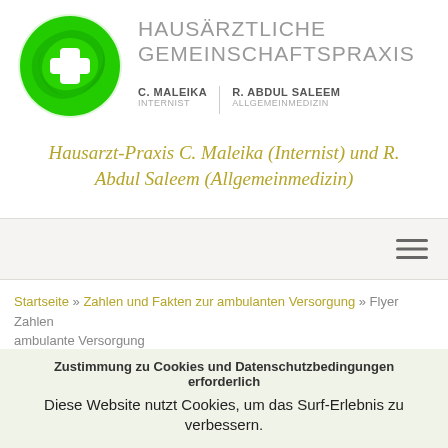[Figure (logo): Green circular logo with a white medical cross and stylized hands forming a circle around it, for Hausärztliche Gemeinschaftspraxis]
HAUSÄRZTLICHE GEMEINSCHAFTSPRAXIS
C. MALEIKA INTERNIST | R. ABDUL SALEEM ALLGEMEINMEDIZIN
Hausarzt-Praxis C. Maleika (Internist) und R. Abdul Saleem (Allgemeinmedizin)
[Figure (other): Navigation bar with hamburger menu icon]
Startseite » Zahlen und Fakten zur ambulanten Versorgung » Flyer Zahlen ambulante Versorgung
Zustimmung zu Cookies und Datenschutzbedingungen erforderlich
Diese Website nutzt Cookies, um das Surf-Erlebnis zu verbessern.